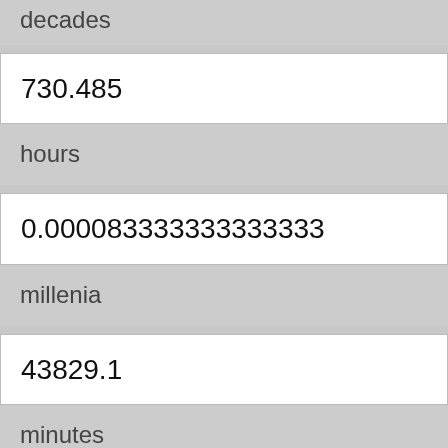decades
730.485
hours
0.000083333333333333
millenia
43829.1
minutes
2629746000
milliseconds